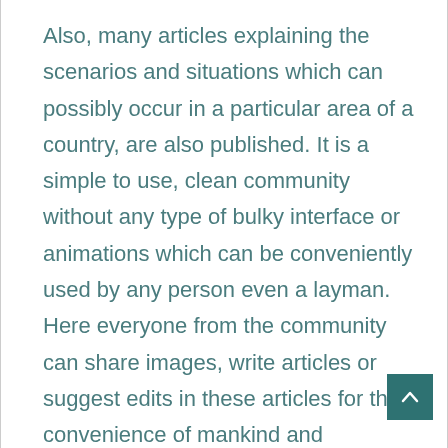Also, many articles explaining the scenarios and situations which can possibly occur in a particular area of a country, are also published. It is a simple to use, clean community without any type of bulky interface or animations which can be conveniently used by any person even a layman. Here everyone from the community can share images, write articles or suggest edits in these articles for the convenience of mankind and spreading the information. It is a great platform for those who love nature and explore it.